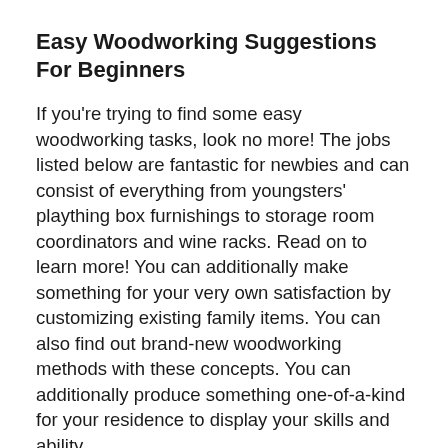Easy Woodworking Suggestions For Beginners
If you're trying to find some easy woodworking tasks, look no more! The jobs listed below are fantastic for newbies and can consist of everything from youngsters' plaything box furnishings to storage room coordinators and wine racks. Read on to learn more! You can additionally make something for your very own satisfaction by customizing existing family items. You can also find out brand-new woodworking methods with these concepts. You can additionally produce something one-of-a-kind for your residence to display your skills and ability.